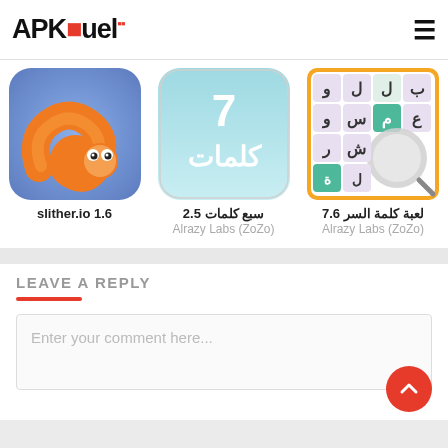APKFuel
[Figure (screenshot): App thumbnail for slither.io showing orange worm snake on blue/purple background]
slither.io 1.6
[Figure (screenshot): App thumbnail for سبع كلمات 2.5 showing number 7 and Arabic text on teal background]
سبع كلمات 2.5
Alrazy Labs (ZoZo)
[Figure (screenshot): App thumbnail for لعبة كلمة السر 7.6 showing Arabic letter grid with magnifying glass, yellow border]
لعبة كلمة السر 7.6
Alrazy Labs (ZoZo)
LEAVE A REPLY
Enter your comment here...